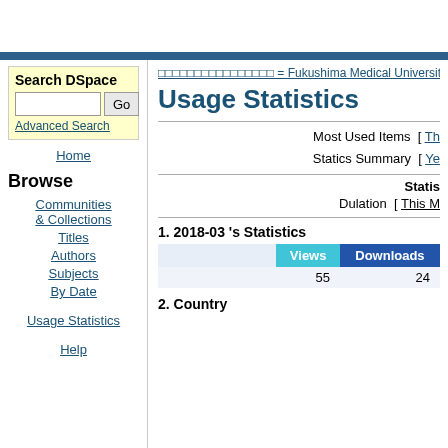Search DSpace
Advanced Search
Home
Browse
Communities & Collections
Titles
Authors
Subjects
By Date
Usage Statistics
Help
□□□□□□□□□□□□□□□□ = Fukushima Medical University Rep
Usage Statistics
Most Used Items  [ Th
Statics Summary  [ Ye
Statis
Dulation  [ This M
1. 2018-03 's Statistics
|  | Views | Downloads |
| --- | --- | --- |
|  | 55 | 24 |
2. Country